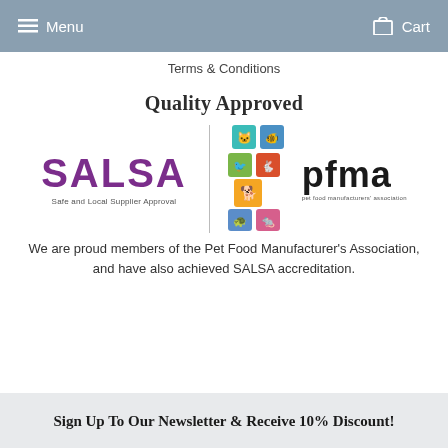Menu   Cart
Terms & Conditions
Quality Approved
[Figure (logo): Two logos side by side separated by a vertical line: SALSA (Safe and Local Supplier Approval) in purple bold text, and pfma (pet food manufacturers association) with colorful animal icon squares]
We are proud members of the Pet Food Manufacturer's Association, and have also achieved SALSA accreditation.
Sign Up To Our Newsletter & Receive 10% Discount!